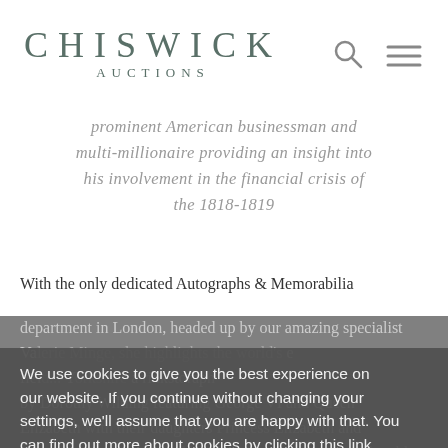CHISWICK AUCTIONS
prominent American businessman and multi-millionaire providing an insight into his involvement in the financial crisis of the 1818-1819
With the only dedicated Autographs & Memorabilia department in London, headed up by our amazing specialist Va[lerie Minge], she highlights the diversity of the field... a photograph by Dorothy Wilding featuring George VI and Queen Elizabeth with their daughters Princess Elizabeth and Princess Margaret, signed by all sitters. The photograph sold for £3,500 in May, proving the enduring popularity of Her Majesty The Queen. The October sale highlight was a series
We use cookies to give you the best experience on our website. If you continue without changing your settings, we'll assume that you are happy with that. You can find out more about cookies by clicking this link.